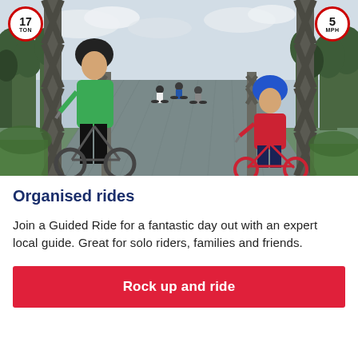[Figure (photo): Group of cyclists including adults and children riding bicycles across a metal truss bridge. A person in a green jacket leads on the left, a child in a red shirt and blue helmet is on the right. Speed limit sign (5 MPH) and weight limit sign (17 TON) are visible on the bridge.]
Organised rides
Join a Guided Ride for a fantastic day out with an expert local guide. Great for solo riders, families and friends.
Rock up and ride